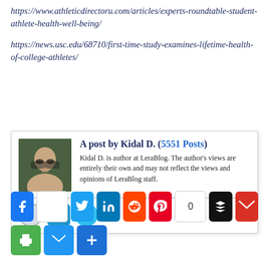https://www.athleticdirectoru.com/articles/experts-roundtable-student-athlete-health-well-being/
https://news.usc.edu/68710/first-time-study-examines-lifetime-health-of-college-athletes/
[Figure (other): Red Pinterest Save button]
A post by Kidal D. (5551 Posts)
Kidal D. is author at LeraBlog. The author's views are entirely their own and may not reflect the views and opinions of LeraBlog staff.
[Figure (other): Social sharing bar with Facebook, Twitter, LinkedIn, Reddit, Pinterest, Buffer, Gmail, Print, Email, and Add buttons]